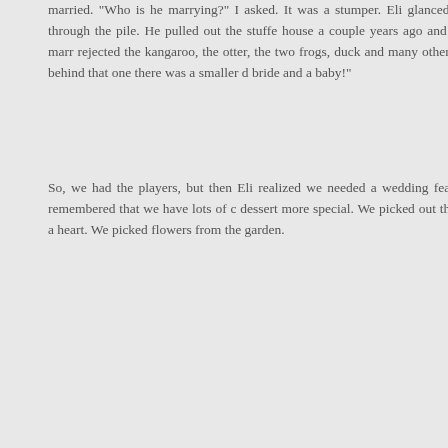married. "Who is he marrying?" I asked. It was a stumper. Eli glanced around at the other stuffies and started pawing through the pile. He pulled out the stuffe we got at a house a couple years ago and held it up, laughing. "Big Doggie can't marr" He rejected the kangaroo, the otter, the two frogs, duck and many others because they were about half Big Doggie's size. Right behind that one there was a smaller d bride and a baby!"
So, we had the players, but then Eli realized we needed a wedding feast. Easy enough, and more fun when I remembered that we have lots of c dessert more special. We picked out three dogs (a lab like Big Doggie and and a heart. We picked flowers from the garden.